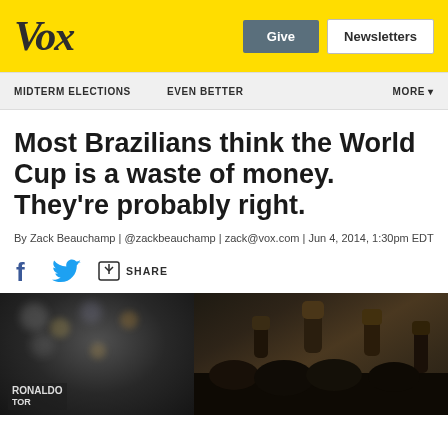Vox | Give | Newsletters
MIDTERM ELECTIONS | EVEN BETTER | MORE
Most Brazilians think the World Cup is a waste of money. They're probably right.
By Zack Beauchamp | @zackbeauchamp | zack@vox.com | Jun 4, 2014, 1:30pm EDT
[Figure (photo): Protest photo showing people with raised fists and a sign reading RONALDO [TRAITOR] at bottom left. Split image: left side shows blurred protest lights, right side shows raised fists against dark background.]